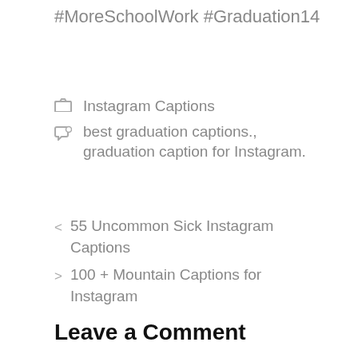#MoreSchoolWork #Graduation14
Instagram Captions
best graduation captions., graduation caption for Instagram.
< 55 Uncommon Sick Instagram Captions
> 100 + Mountain Captions for Instagram
Leave a Comment